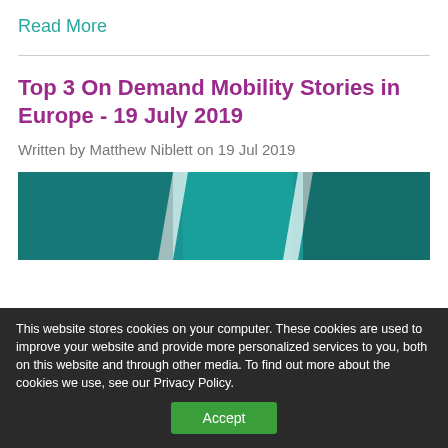Read More
Top 3 On Demand Mobility Stories in Europe - 19 July 2019
Written by Matthew Niblett on 19 Jul 2019
[Figure (photo): Teal/teal-colored image showing vehicles or transport-related imagery with diagonal stripe dividers]
This website stores cookies on your computer. These cookies are used to improve your website and provide more personalized services to you, both on this website and through other media. To find out more about the cookies we use, see our Privacy Policy.